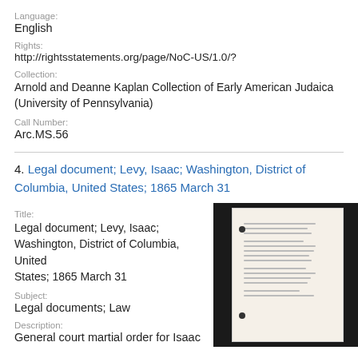Language:
English
Rights:
http://rightsstatements.org/page/NoC-US/1.0/?
Collection:
Arnold and Deanne Kaplan Collection of Early American Judaica (University of Pennsylvania)
Call Number:
Arc.MS.56
4. Legal document; Levy, Isaac; Washington, District of Columbia, United States; 1865 March 31
Title:
Legal document; Levy, Isaac; Washington, District of Columbia, United States; 1865 March 31
Subject:
Legal documents; Law
Description:
General court martial order for Isaac
[Figure (photo): Thumbnail image of a historical legal document, white paper with text on a dark background]